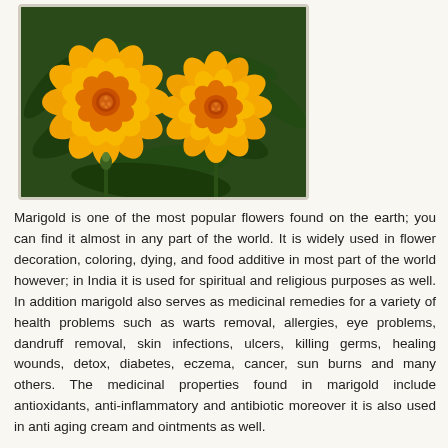[Figure (photo): Two bright yellow-orange marigold flowers in bloom against a green leafy background]
Marigold is one of the most popular flowers found on the earth; you can find it almost in any part of the world. It is widely used in flower decoration, coloring, dying, and food additive in most part of the world however; in India it is used for spiritual and religious purposes as well. In addition marigold also serves as medicinal remedies for a variety of health problems such as warts removal, allergies, eye problems, dandruff removal, skin infections, ulcers, killing germs, healing wounds, detox, diabetes, eczema, cancer, sun burns and many others. The medicinal properties found in marigold include antioxidants, anti-inflammatory and antibiotic moreover it is also used in anti aging cream and ointments as well.